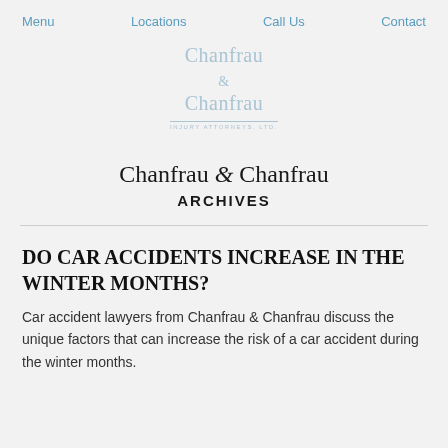Menu    Locations    Call Us    Contact
[Figure (logo): Chanfrau & Chanfrau law firm logo in light blue/grey serif text]
Chanfrau & Chanfrau ARCHIVES
DO CAR ACCIDENTS INCREASE IN THE WINTER MONTHS?
Car accident lawyers from Chanfrau & Chanfrau discuss the unique factors that can increase the risk of a car accident during the winter months.